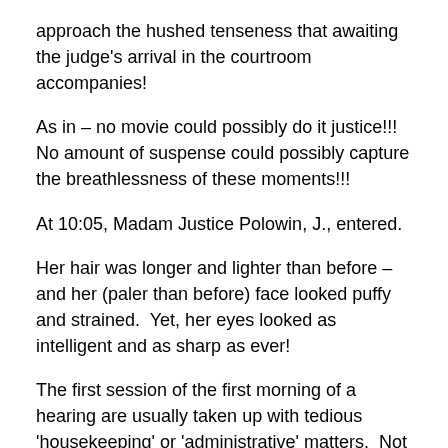approach the hushed tenseness that awaiting the judge's arrival in the courtroom accompanies!
As in – no movie could possibly do it justice!!!  No amount of suspense could possibly capture the breathlessness of these moments!!!
At 10:05, Madam Justice Polowin, J., entered.
Her hair was longer and lighter than before – and her (paler than before) face looked puffy and strained.  Yet, her eyes looked as intelligent and as sharp as ever!
The first session of the first morning of a hearing are usually taken up with tedious 'housekeeping' or 'administrative' matters.  Not so in Madam Justice Polowin's courtroom today!  We went straight to the start of the defense's case!!!